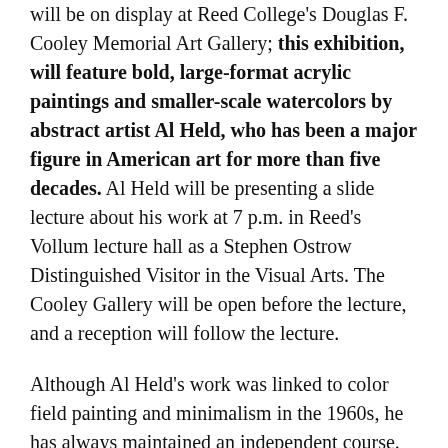will be on display at Reed College's Douglas F. Cooley Memorial Art Gallery; this exhibition, will feature bold, large-format acrylic paintings and smaller-scale watercolors by abstract artist Al Held, who has been a major figure in American art for more than five decades. Al Held will be presenting a slide lecture about his work at 7 p.m. in Reed's Vollum lecture hall as a Stephen Ostrow Distinguished Visitor in the Visual Arts. The Cooley Gallery will be open before the lecture, and a reception will follow the lecture.
Although Al Held's work was linked to color field painting and minimalism in the 1960s, he has always maintained an independent course. The recent works in this exhibition focus on Held's concerns of color, shape, and volumetric space. His meticulously crafted canvases reflect his interest in complex scientific theories such as